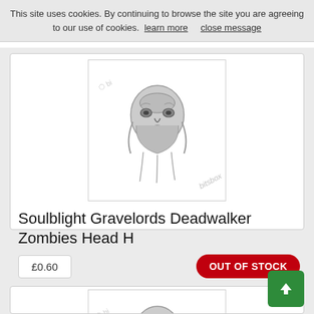This site uses cookies. By continuing to browse the site you are agreeing to our use of cookies.  learn more     close message
[Figure (photo): Metal zombie head miniature (Head H) on white background with bits box watermark]
Soulblight Gravelords Deadwalker Zombies Head H
£0.60
OUT OF STOCK
[Figure (photo): Metal zombie skull with long hair miniature on white background with bits box watermark]